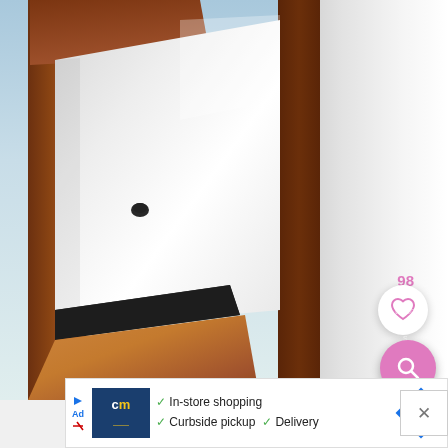[Figure (photo): Close-up photo of a white table or stool top with wood frame legs, shot from below at an angle. The white tabletop has a small hole/screw hole. Wood legs are dark brown/walnut colored. A black tape strip is visible on the lower edge. Background shows light blue sky. Overlaid UI elements include a pink heart count '98', a white circular heart/like button, and a pink circular search/magnify button.]
[Figure (screenshot): An advertisement banner at the bottom of the page for 'cm' brand store, showing a dark blue logo with yellow 'cm' text, checkmarks next to 'In-store shopping', 'Curbside pickup', 'Delivery' text, and a blue diamond navigation arrow icon on the right. A small ad label with blue triangle play icon and red X on left side.]